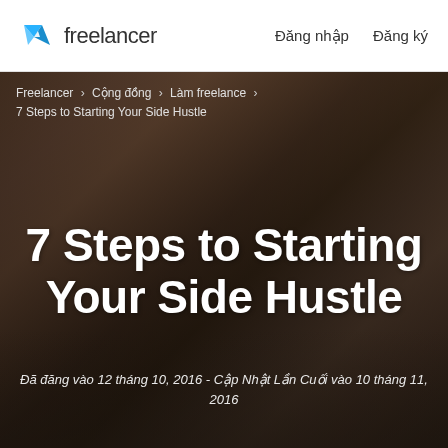Freelancer  Đăng nhập  Đăng ký
Freelancer › Cộng đồng › Làm freelance › 7 Steps to Starting Your Side Hustle
[Figure (photo): A person in a plaid shirt working on a laptop with a coffee mug on the desk, dark overlay applied to image]
7 Steps to Starting Your Side Hustle
Đã đăng vào 12 tháng 10, 2016 - Cập Nhật Lần Cuối vào 10 tháng 11, 2016